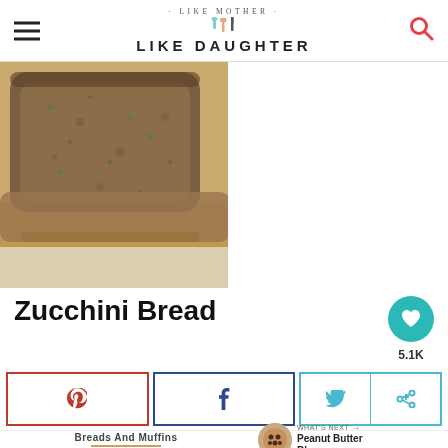· LIKE MOTHER · LIKE DAUGHTER
[Figure (photo): Sliced zucchini bread on a wooden cutting board, viewed from above/angle, showing green flecks in dense brown crumb]
Zucchini Bread
5.1K
[Figure (infographic): Three social share buttons: Pinterest (red border, heart/pin icon), Facebook (dark blue border, f icon), Twitter+Share (light blue border, bird icon and share icon)]
Breads And Muffins
WHAT'S NEXT → Peanut Butter Blossoms